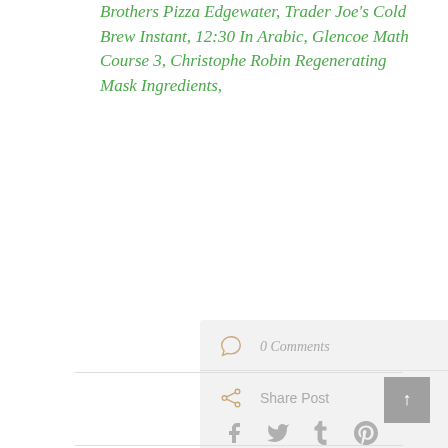Brothers Pizza Edgewater, Trader Joe's Cold Brew Instant, 12:30 In Arabic, Glencoe Math Course 3, Christophe Robin Regenerating Mask Ingredients,
0 Comments
Share Post